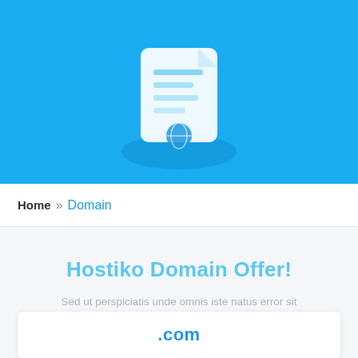[Figure (illustration): Blue hero banner with a 3D floating document/domain registration icon illustration on a bright blue background]
Home » Domain
Hostiko Domain Offer!
Sed ut perspiciatis unde omnis iste natus error sit voluptatem accusantium
.com